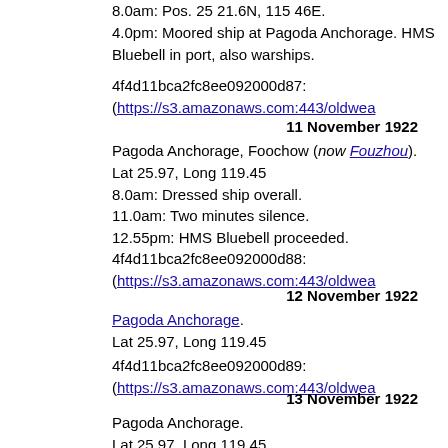8.0am: Pos. 25 21.6N, 115 46E.
4.0pm: Moored ship at Pagoda Anchorage. HMS Bluebell in port, also warships.
4f4d11bca2fc8ee092000d87: (https://s3.amazonaws.com:443/oldwea
11 November 1922
Pagoda Anchorage, Foochow (now Fouzhou).
Lat 25.97, Long 119.45
8.0am: Dressed ship overall.
11.0am: Two minutes silence.
12.55pm: HMS Bluebell proceeded.
4f4d11bca2fc8ee092000d88: (https://s3.amazonaws.com:443/oldwea
12 November 1922
Pagoda Anchorage.
Lat 25.97, Long 119.45
4f4d11bca2fc8ee092000d89: (https://s3.amazonaws.com:443/oldwea
13 November 1922
Pagoda Anchorage.
Lat 25.97, Long 119.45
4f4d11bda2fc8ee092000d8a: (https://s3.amazonaws.com:443/oldwea
14 November 1922
Pagoda Anchorage.
Lat 25.97, Long 119.45
6.0am: French sloop Altair proceeded.